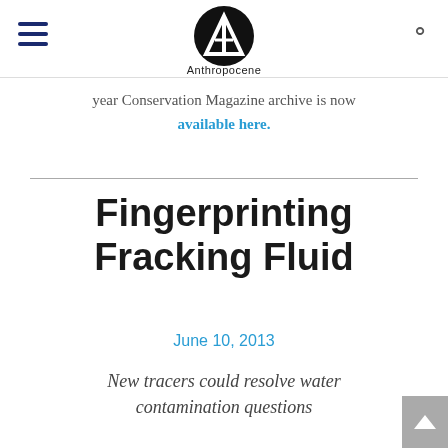Anthropocene (logo header with hamburger menu and search icon)
year Conservation Magazine archive is now available here.
Fingerprinting Fracking Fluid
June 10, 2013
New tracers could resolve water contamination questions